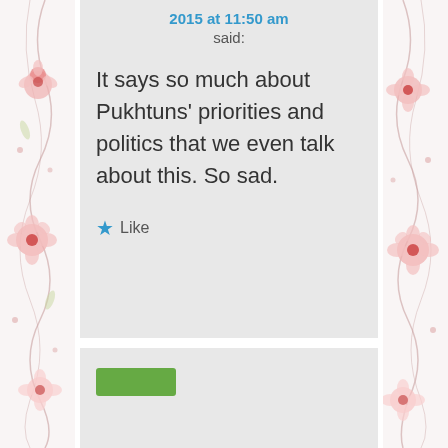2015 at 11:50 am
said:
It says so much about Pukhtuns’ priorities and politics that we even talk about this. So sad.
★ Like
[Figure (other): Partial view of another comment block at the bottom with a green button]